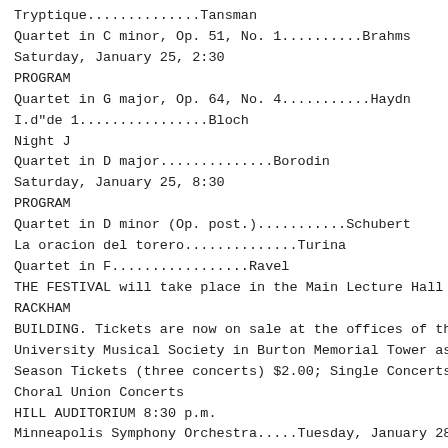Tryptique..............Tansman
Quartet in C minor, Op. 51, No. 1..........Brahms
Saturday, January 25, 2:30
PROGRAM
Quartet in G major, Op. 64, No. 4...........Haydn
I.d"de 1................Bloch
Night J
Quartet in D major..............Borodin
Saturday, January 25, 8:30
PROGRAM
Quartet in D minor (Op. post.)...........Schubert
La oracion del torero..............Turina
Quartet in F.................Ravel
THE FESTIVAL will take place in the Main Lecture Hall of the RACKHAM
BUILDING. Tickets are now on sale at the offices of the University Musical Society in Burton Memorial Tower as follows: Season Tickets (three concerts) $2.00; Single Concerts $1.00.
Choral Union Concerts
HILL AUDITORIUM 8:30 p.m.
Minneapolis Symphony Orchestra.....Tuesday, January 28
Dimitri Mitropoulos, Conductor
Budapest String Quartet........Thursday, February 20